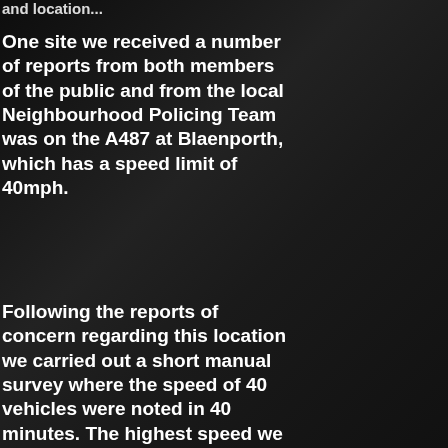and location...
One site we received a number of reports from both members of the public and from the local Neighbourhood Policing Team was on the A487 at Blaenporth, which has a speed limit of 40mph.
Following the reports of concern regarding this location we carried out a short manual survey where the speed of 40 vehicles were noted in 40 minutes. The highest speed we recorded during the survey was 56mph!